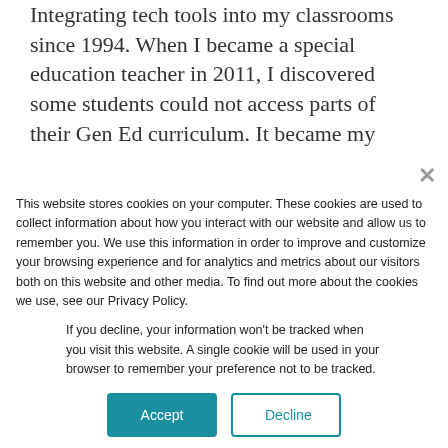Integrating tech tools into my classrooms since 1994. When I became a special education teacher in 2011, I discovered some students could not access parts of their Gen Ed curriculum. It became my mission to find tools for student success. I have been lucky enough to share my passion to local
This website stores cookies on your computer. These cookies are used to collect information about how you interact with our website and allow us to remember you. We use this information in order to improve and customize your browsing experience and for analytics and metrics about our visitors both on this website and other media. To find out more about the cookies we use, see our Privacy Policy.
If you decline, your information won't be tracked when you visit this website. A single cookie will be used in your browser to remember your preference not to be tracked.
Accept
Decline